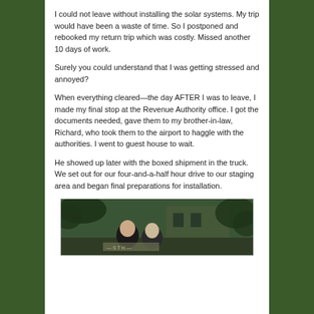I could not leave without installing the solar systems. My trip would have been a waste of time. So I postponed and rebooked my return trip which was costly. Missed another 10 days of work.
Surely you could understand that I was getting stressed and annoyed?
When everything cleared—the day AFTER I was to leave, I made my final stop at the Revenue Authority office. I got the documents needed, gave them to my brother-in-law, Richard, who took them to the airport to haggle with the authorities. I went to guest house to wait.
He showed up later with the boxed shipment in the truck. We set out for our four-and-a-half hour drive to our staging area and began final preparations for installation.
[Figure (photo): A photograph showing two people, likely outdoors near a building or vehicle, with tropical vegetation in the background. There appears to be text/signage partially visible in the image.]